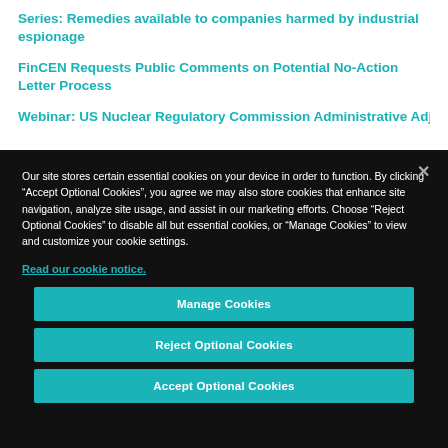Series: Remedies available to companies harmed by industrial espionage
FinCEN Requests Public Comments on Potential No-Action Letter Process
Our site stores certain essential cookies on your device in order to function. By clicking “Accept Optional Cookies”, you agree we may also store cookies that enhance site navigation, analyze site usage, and assist in our marketing efforts. Choose “Reject Optional Cookies” to disable all but essential cookies, or “Manage Cookies” to view and customize your cookie settings.
Read our cookie notice.
Manage Cookies
Reject Optional Cookies
Accept Optional Cookies